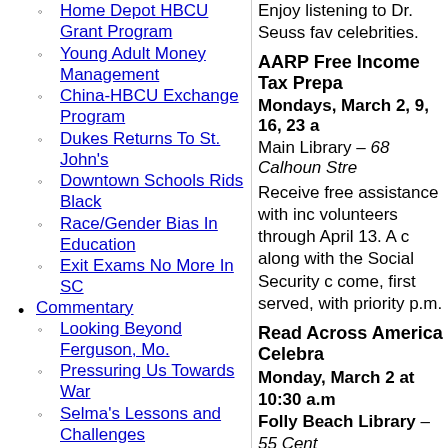Home Depot HBCU Grant Program
Young Adult Money Management
China-HBCU Exchange Program
Dukes Returns To St. John's
Downtown Schools Rids Black
Race/Gender Bias In Education
Exit Exams No More In SC
Commentary
Looking Beyond Ferguson, Mo.
Pressuring Us Towards War
Selma's Lessons and Challenges
Crossroads of Police Reform
Black Storytelling Part 2
Enjoy listening to Dr. Seuss fav celebrities.
AARP Free Income Tax Prepa
Mondays, March 2, 9, 16, 23 a
Main Library – 68 Calhoun Stre
Receive free assistance with inc volunteers through April 13. A c along with the Social Security c come, first served, with priority p.m.
Read Across America Celebra
Monday, March 2 at 10:30 a.m Folly Beach Library – 55 Cent
Enjoy listening to Dr. Seuss fav